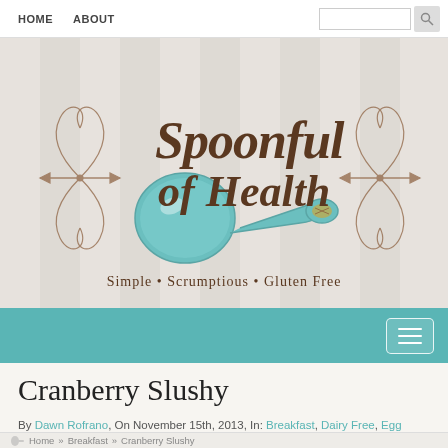HOME   ABOUT
[Figure (logo): Spoonful of Health logo with decorative script text, a teal spoon, and ornamental flourishes. Subtitle: Simple • Scrumptious • Gluten Free]
Cranberry Slushy
By Dawn Rofrano, On November 15th, 2013, In: Breakfast, Dairy Free, Egg Free, FreeDiet™- phase 1, FreeDiet™- phase 2, Nut Free, Paleo/Grain Free, Raw, Vegan
Home » Breakfast » Cranberry Slushy